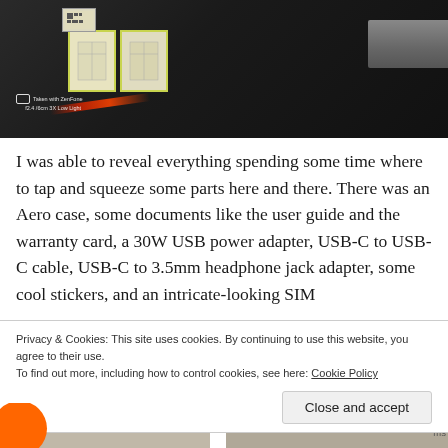[Figure (photo): Close-up photo of an open device box showing stickers/labels with yellow-green borders, a battery pack or card, and red LED lighting. Taken with ZenFone camera watermark visible in bottom-left corner.]
I was able to reveal everything spending some time where to tap and squeeze some parts here and there. There was an Aero case, some documents like the user guide and the warranty card, a 30W USB power adapter, USB-C to USB-C cable, USB-C to 3.5mm headphone jack adapter, some cool stickers, and an intricate-looking SIM
Privacy & Cookies: This site uses cookies. By continuing to use this website, you agree to their use.
To find out more, including how to control cookies, see here: Cookie Policy
Close and accept